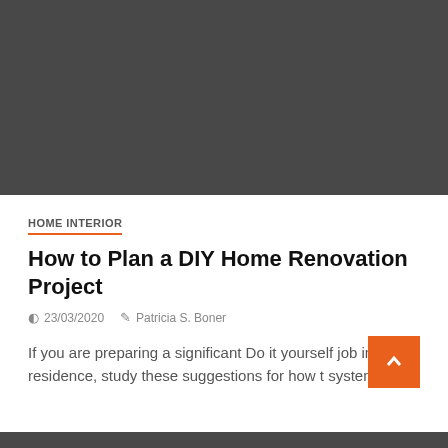[Figure (photo): Dark gray rectangular hero image placeholder at top of page]
HOME INTERIOR
How to Plan a DIY Home Renovation Project
23/03/2020   Patricia S. Boner
If you are preparing a significant Do it yourself job in your residence, study these suggestions for how t system...